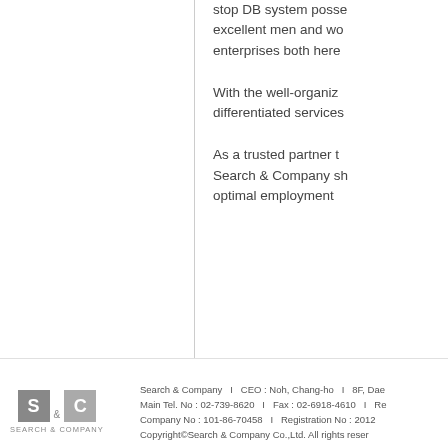stop DB system possessed by excellent men and women enterprises both here
With the well-organized differentiated services
As a trusted partner to Search & Company shall optimal employment
[Figure (logo): Search & Company logo with S and C in grey squares and text SEARCH & COMPANY below]
Search & Company  I  CEO : Noh, Chang-ho  I  8F, Dae... Main Tel. No : 02-739-8620  I  Fax : 02-6918-4610  I  Re... Company No : 101-86-70458  I  Registration No : 2012... Copyright©Search & Company Co.,Ltd. All rights reser...